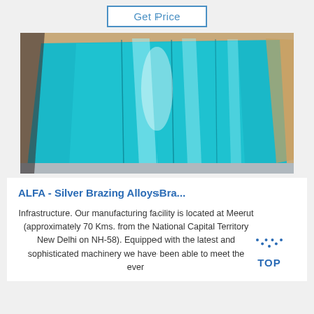Get Price
[Figure (photo): Photo of blue metallic/aluminum sheets with reflective surface, laid out flat]
ALFA - Silver Brazing AlloysBra...
Infrastructure. Our manufacturing facility is located at Meerut (approximately 70 Kms. from the National Capital Territory New Delhi on NH-58). Equipped with the latest and sophisticated machinery we have been able to meet the ever
[Figure (logo): TOP logo with dotted arc above text 'TOP' in blue]